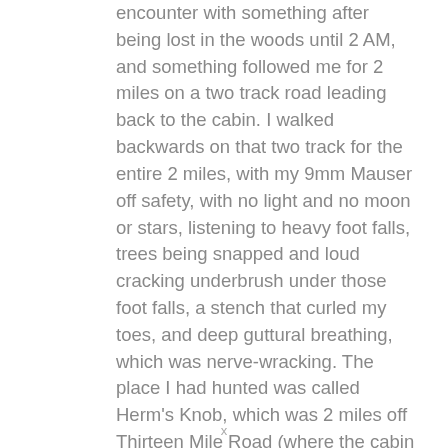encounter with something after being lost in the woods until 2 AM, and something followed me for 2 miles on a two track road leading back to the cabin. I walked backwards on that two track for the entire 2 miles, with my 9mm Mauser off safety, with no light and no moon or stars, listening to heavy foot falls, trees being snapped and loud cracking underbrush under those foot falls, a stench that curled my toes, and deep guttural breathing, which was nerve-wracking. The place I had hunted was called Herm's Knob, which was 2 miles off Thirteen Mile Road (where the cabin was) in Reed City, Michigan, although the cabin is actually closer to Leroy, Michigan. The event repeated itself one night latter, only with my partner. Like you, after feeling like I was being hunted, that ended my hunting. I have
x